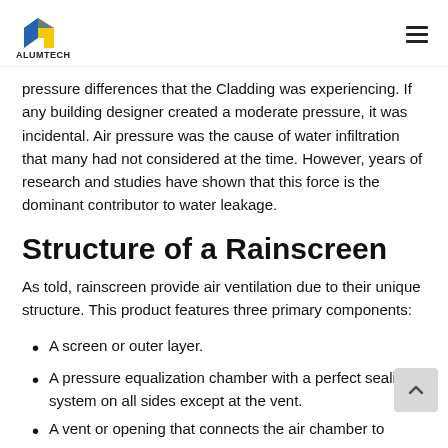ALUMTECH
pressure differences that the Cladding was experiencing. If any building designer created a moderate pressure, it was incidental. Air pressure was the cause of water infiltration that many had not considered at the time. However, years of research and studies have shown that this force is the dominant contributor to water leakage.
Structure of a Rainscreen
As told, rainscreen provide air ventilation due to their unique structure. This product features three primary components:
A screen or outer layer.
A pressure equalization chamber with a perfect sealing system on all sides except at the vent.
A vent or opening that connects the air chamber to…